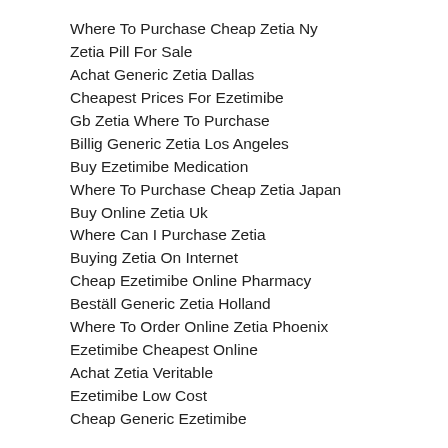Where To Purchase Cheap Zetia Ny
Zetia Pill For Sale
Achat Generic Zetia Dallas
Cheapest Prices For Ezetimibe
Gb Zetia Where To Purchase
Billig Generic Zetia Los Angeles
Buy Ezetimibe Medication
Where To Purchase Cheap Zetia Japan
Buy Online Zetia Uk
Where Can I Purchase Zetia
Buying Zetia On Internet
Cheap Ezetimibe Online Pharmacy
Beställ Generic Zetia Holland
Where To Order Online Zetia Phoenix
Ezetimibe Cheapest Online
Achat Zetia Veritable
Ezetimibe Low Cost
Cheap Generic Ezetimibe